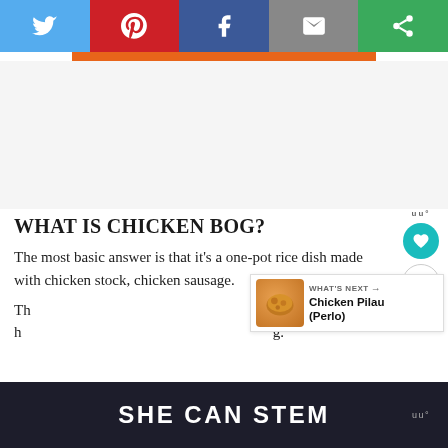[Figure (screenshot): Social share bar with Twitter (blue), Pinterest (red), Facebook (dark blue), Email (grey), and another share option (green) buttons]
[Figure (other): Orange horizontal accent bar below share buttons]
[Figure (other): Advertisement/empty space area]
WHAT IS CHICKEN BOG?
The most basic answer is that it’s a one-pot rice dish made with chicken stock, chicken sausage.
[Figure (infographic): What's Next widget with chicken dish image and text: Chicken Pilau (Perlo)]
[Figure (other): SHE CAN STEM advertisement banner at bottom of page]
Th s called h g.